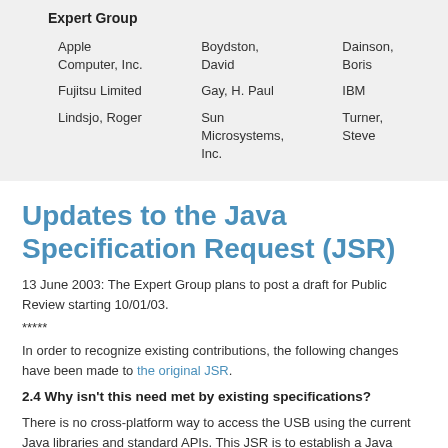|  |  |  |
| --- | --- | --- |
| Expert Group |  |  |
| Apple Computer, Inc. | Boydston, David | Dainson, Boris |
| Fujitsu Limited | Gay, H. Paul | IBM |
| Lindsjo, Roger | Sun Microsystems, Inc. | Turner, Steve |
Updates to the Java Specification Request (JSR)
13 June 2003: The Expert Group plans to post a draft for Public Review starting 10/01/03.
*****
In order to recognize existing contributions, the following changes have been made to the original JSR.
2.4 Why isn't this need met by existing specifications?
There is no cross-platform way to access the USB using the current Java libraries and standard APIs. This JSR is to establish a Java standard for this access. There is a project working on access on the Linux platform. (See Contributions.)